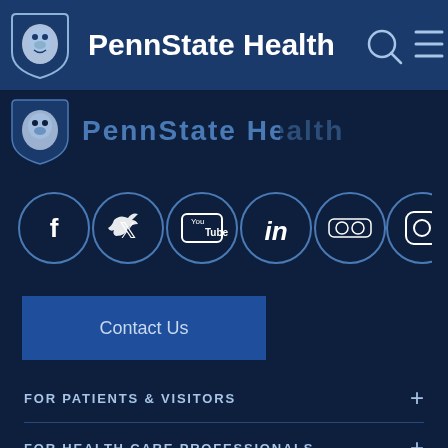[Figure (logo): PennState Health navigation bar with lion shield logo, site title, search icon, and hamburger menu icon]
[Figure (logo): Partial second PennState Health header row showing shield logo and partially visible site name]
[Figure (infographic): Row of 6 social media icons in circular borders: Facebook, Twitter, YouTube, LinkedIn, Flickr, Instagram]
Contact Us
FOR PATIENTS & VISITORS
FOR HEALTH CARE PROFESSIONALS